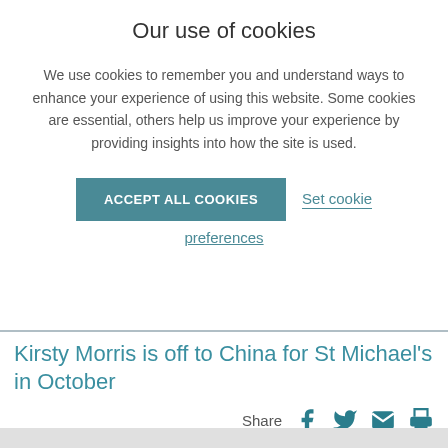Our use of cookies
We use cookies to remember you and understand ways to enhance your experience of using this website. Some cookies are essential, others help us improve your experience by providing insights into how the site is used.
ACCEPT ALL COOKIES
Set cookie preferences
Kirsty Morris is off to China for St Michael's in October
Share